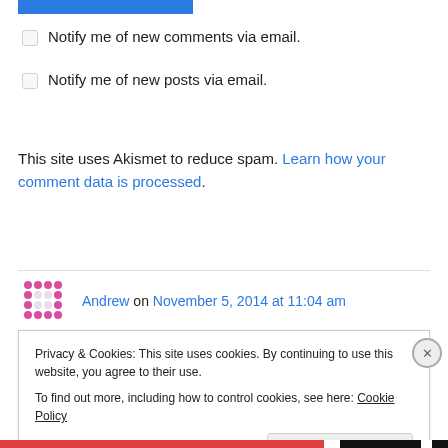Notify me of new comments via email.
Notify me of new posts via email.
This site uses Akismet to reduce spam. Learn how your comment data is processed.
Andrew on November 5, 2014 at 11:04 am
How can we remove/reduce these from
Privacy & Cookies: This site uses cookies. By continuing to use this website, you agree to their use. To find out more, including how to control cookies, see here: Cookie Policy